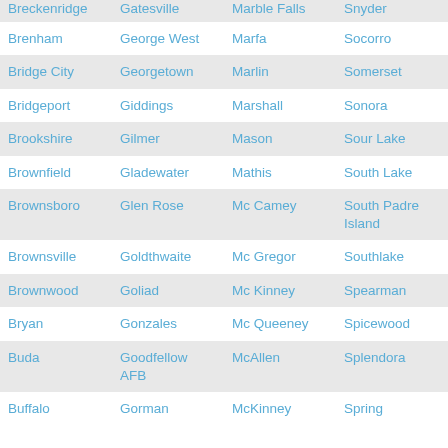| Breckenridge | Gatesville | Marble Falls | Snyder |
| Brenham | George West | Marfa | Socorro |
| Bridge City | Georgetown | Marlin | Somerset |
| Bridgeport | Giddings | Marshall | Sonora |
| Brookshire | Gilmer | Mason | Sour Lake |
| Brownfield | Gladewater | Mathis | South Lake |
| Brownsboro | Glen Rose | Mc Camey | South Padre Island |
| Brownsville | Goldthwaite | Mc Gregor | Southlake |
| Brownwood | Goliad | Mc Kinney | Spearman |
| Bryan | Gonzales | Mc Queeney | Spicewood |
| Buda | Goodfellow AFB | McAllen | Splendora |
| Buffalo | Gorman | McKinney | Spring |